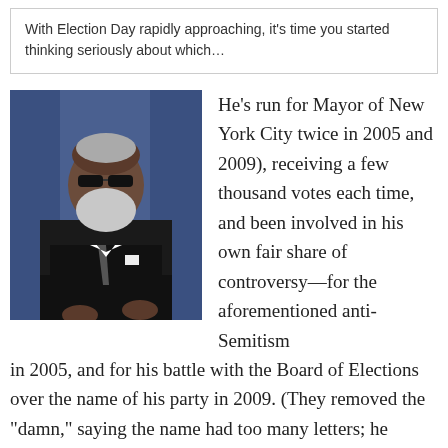With Election Day rapidly approaching, it's time you started thinking seriously about which…
[Figure (photo): A man in a dark suit with sunglasses and a white beard, seated, in front of a blue curtain background]
He's run for Mayor of New York City twice in 2005 and 2009), receiving a few thousand votes each time, and been involved in his own fair share of controversy—for the aforementioned anti-Semitism in 2005, and for his battle with the Board of Elections over the name of his party in 2009. (They removed the "damn," saying the name had too many letters; he insisted it was because they didn't like his language. This year, he substituted the numeral "2" for "too" and came